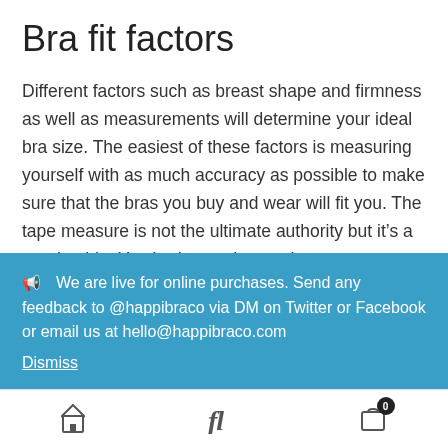Bra fit factors
Different factors such as breast shape and firmness as well as measurements will determine your ideal bra size. The easiest of these factors is measuring yourself with as much accuracy as possible to make sure that the bras you buy and wear will fit you. The tape measure is not the ultimate authority but it’s a good guide. You body type has an impact on your ultimate size as a bony ribcage may feel
📢  We are live for online purchases. Send any feedback to @happibraco via DM on Twitter or Facebook or email us at hello@happibraco.com
Dismiss
[Figure (screenshot): Mobile app bottom navigation bar with home icon, fi (font) icon, and shopping cart icon with badge showing 0]